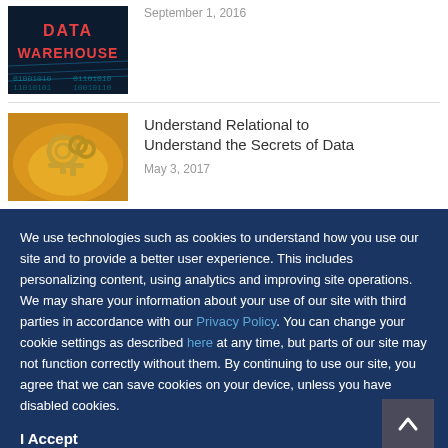[Figure (photo): Data Warehouse blog post thumbnail — dark blue background with 'DATA WAREHOUSE' text in red/orange, digital data visualization]
September 1, 2016
[Figure (photo): Blog post thumbnail — golden key with rings on warm yellow/amber background]
Understand Relational to Understand the Secrets of Data
May 3, 2017
We use technologies such as cookies to understand how you use our site and to provide a better user experience. This includes personalizing content, using analytics and improving site operations. We may share your information about your use of our site with third parties in accordance with our Privacy Policy. You can change your cookie settings as described here at any time, but parts of our site may not function correctly without them. By continuing to use our site, you agree that we can save cookies on your device, unless you have disabled cookies.
I Accept